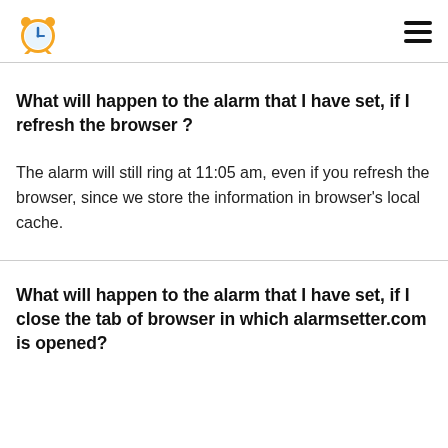Alarm setter logo and navigation menu
What will happen to the alarm that I have set, if I refresh the browser ?
The alarm will still ring at 11:05 am, even if you refresh the browser, since we store the information in browser's local cache.
What will happen to the alarm that I have set, if I close the tab of browser in which alarmsetter.com is opened?